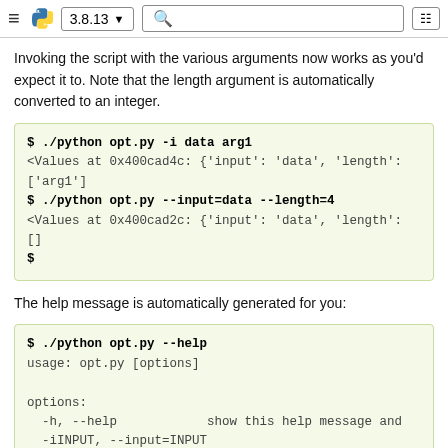3.8.13
Invoking the script with the various arguments now works as you'd expect it to. Note that the length argument is automatically converted to an integer.
$ ./python opt.py -i data arg1
<Values at 0x400cad4c: {'input': 'data', 'length':
['arg1']
$ ./python opt.py --input=data --length=4
<Values at 0x400cad2c: {'input': 'data', 'length':
[]
$
The help message is automatically generated for you:
$ ./python opt.py --help
usage: opt.py [options]

options:
  -h, --help            show this help message and
  -iINPUT, --input=INPUT
                        set input filename
  -lLENGTH, --length=LENGTH
                        set maximum length of outp
$